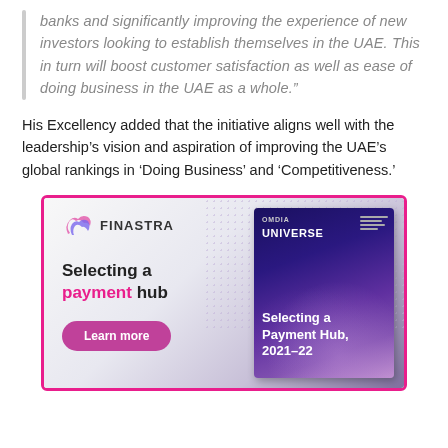banks and significantly improving the experience of new investors looking to establish themselves in the UAE. This in turn will boost customer satisfaction as well as ease of doing business in the UAE as a whole.”
His Excellency added that the initiative aligns well with the leadership’s vision and aspiration of improving the UAE’s global rankings in ‘Doing Business’ and ‘Competitiveness.’
[Figure (infographic): Finastra advertisement for 'Selecting a payment hub' featuring Finastra logo, pink and black text, a Learn more button, and an Omdia Universe report cover titled 'Selecting a Payment Hub, 2021–22' against a galaxy background.]